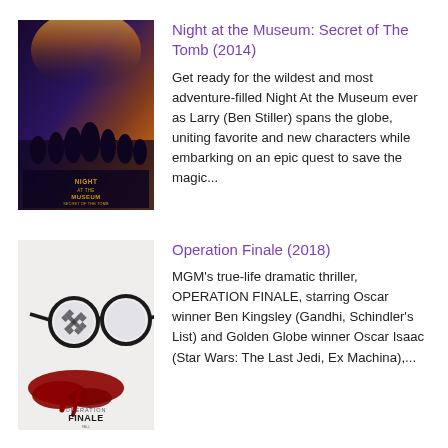[Figure (photo): Movie poster for Night at the Museum: Secret of The Tomb (2014) showing characters and the movie title]
Night at the Museum: Secret of The Tomb (2014)
Get ready for the wildest and most adventure-filled Night At the Museum ever as Larry (Ben Stiller) spans the globe, uniting favorite and new characters while embarking on an epic quest to save the magic...
[Figure (photo): Movie poster for Operation Finale (2018) showing glasses with a swastika reflection over a pool of blood, and the text OPERATION FINALE]
Operation Finale (2018)
MGM's true-life dramatic thriller, OPERATION FINALE, starring Oscar winner Ben Kingsley (Gandhi, Schindler's List) and Golden Globe winner Oscar Isaac (Star Wars: The Last Jedi, Ex Machina),...